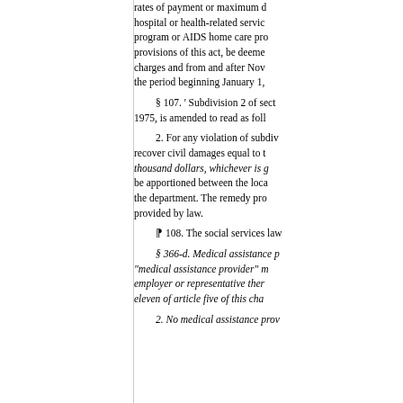rates of payment or maximum charges for any hospital or health-related services, home care program or AIDS home care program under the provisions of this act, be deemed maximum charges and from and after November 1, 1994 the period beginning January 1,
§ 107. ' Subdivision 2 of section of chapter of 1975, is amended to read as follows:
2. For any violation of subdivision one, shall recover civil damages equal to the thousand dollars, whichever is greater, shall be apportioned between the local district and the department. The remedy provided shall be provided by law.
⁋ 108. The social services law
§ 366-d. Medical assistance providers. 1. "medical assistance provider" means any employer or representative thereof under title eleven of article five of this chapter.
2. No medical assistance provider